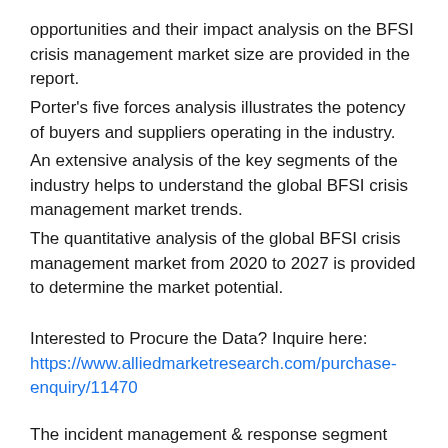opportunities and their impact analysis on the BFSI crisis management market size are provided in the report. Porter's five forces analysis illustrates the potency of buyers and suppliers operating in the industry. An extensive analysis of the key segments of the industry helps to understand the global BFSI crisis management market trends. The quantitative analysis of the global BFSI crisis management market from 2020 to 2027 is provided to determine the market potential.
Interested to Procure the Data? Inquire here: https://www.alliedmarketresearch.com/purchase-enquiry/11470
The incident management & response segment